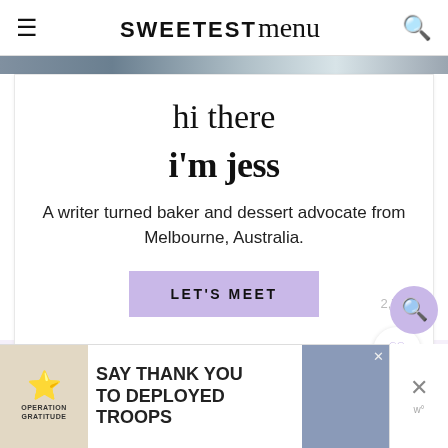SWEETEST menu
[Figure (photo): Partial hero image strip at top of page]
hi there
i'm jess
A writer turned baker and dessert advocate from Melbourne, Australia.
LET'S MEET
2,733
[Figure (infographic): Bottom section with lavender background, search FAB button, and advertisement banner reading SAY THANK YOU TO DEPLOYED TROOPS with Operation Gratitude branding]